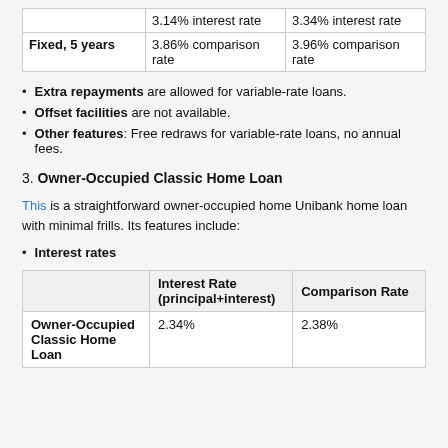|  | Interest Rate | Comparison Rate |
| --- | --- | --- |
| Fixed, 5 years | 3.14% interest rate
3.86% comparison rate | 3.34% interest rate
3.96% comparison rate |
Extra repayments are allowed for variable-rate loans.
Offset facilities are not available.
Other features: Free redraws for variable-rate loans, no annual fees.
3. Owner-Occupied Classic Home Loan
This is a straightforward owner-occupied home Unibank home loan with minimal frills. Its features include:
Interest rates
|  | Interest Rate (principal+interest) | Comparison Rate |
| --- | --- | --- |
| Owner-Occupied Classic Home Loan | 2.34% | 2.38% |